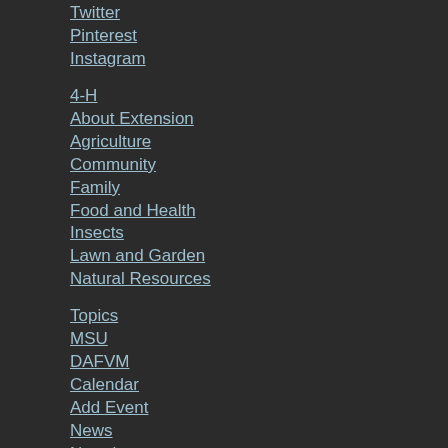Twitter
Pinterest
Instagram
4-H
About Extension
Agriculture
Community
Family
Food and Health
Insects
Lawn and Garden
Natural Resources
Topics
MSU
DAFVM
Calendar
Add Event
News
Newsletters
Publications
Shows
County Offices
Extension Units
Distance Education